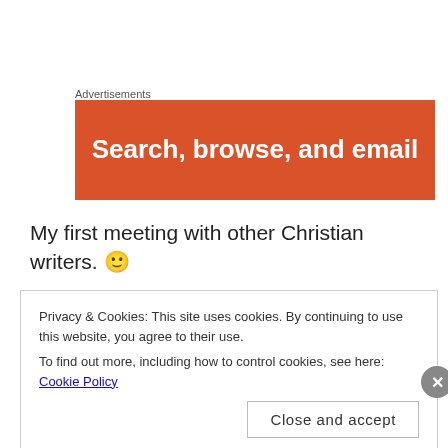Advertisements
[Figure (illustration): Orange advertisement banner with white bold text reading 'Search, browse, and email']
My first meeting with other Christian writers. 🙂
February 2012: Joined Scribes, the ACFW critique loop and went on a steep learning curve of
Privacy & Cookies: This site uses cookies. By continuing to use this website, you agree to their use.
To find out more, including how to control cookies, see here: Cookie Policy
Close and accept